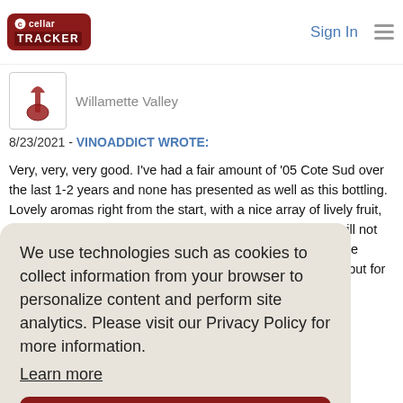cellar tracker | Sign In
Willamette Valley
8/23/2021 - VINOADDICT WROTE:
Very, very, very good. I've had a fair amount of '05 Cote Sud over the last 1-2 years and none has presented as well as this bottling. Lovely aromas right from the start, with a nice array of lively fruit, balanced acidity, and length on the finish. I know they all will not show like this (there's a lot of variability in the older Domaine Serenes) but this was incredibly good, not just for the age, but for the polish and elegance that came through in the
We use technologies such as cookies to collect information from your browser to personalize content and perform site analytics. Please visit our Privacy Policy for more information.
Learn more
Got it!
I recall anate, oured ance at ome time
in the south.